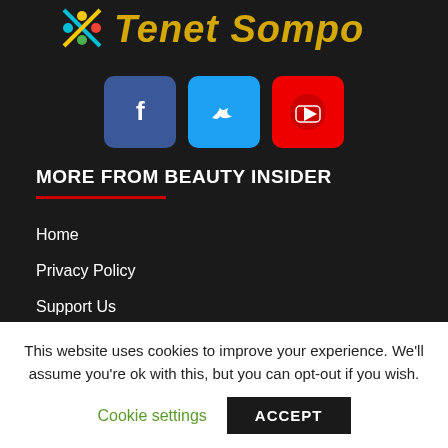[Figure (logo): Tenet Sompo logo with colorful icon and yellow italic text on dark background]
[Figure (infographic): Social media buttons: Facebook (blue), Twitter (light blue), YouTube (red)]
MORE FROM BEAUTY INSIDER
Home
Privacy Policy
Support Us
FAQ
Commercial
Personal
This website uses cookies to improve your experience. We'll assume you're ok with this, but you can opt-out if you wish.
Cookie settings   ACCEPT